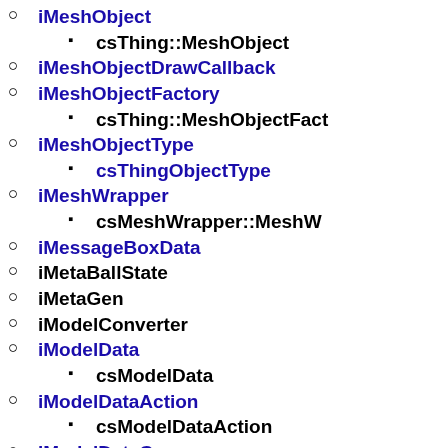iMeshObject
csThing::MeshObject
iMeshObjectDrawCallback
iMeshObjectFactory
csThing::MeshObjectFact
iMeshObjectType
csThingObjectType
iMeshWrapper
csMeshWrapper::MeshW
iMessageBoxData
iMetaBallState
iMetaGen
iModelConverter
iModelData
csModelData
iModelDataAction
csModelDataAction
iModelDataCamera
csModelDataCamera
iModelDataLight
csModelDataLight
iModelDataMaterial
csModelDataMaterial
iModelDataObject
csModelDataObject